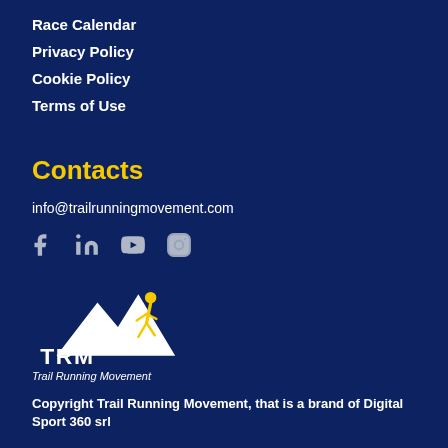Race Calendar
Privacy Policy
Cookie Policy
Terms of Use
Contacts
info@trailrunningmovement.com
[Figure (logo): Social media icons: Facebook, LinkedIn, YouTube, Instagram]
[Figure (logo): TRM Trail Running Movement logo with mountain and runner silhouette]
Copyright Trail Running Movement, that is a brand of Digital Sport 360 srl